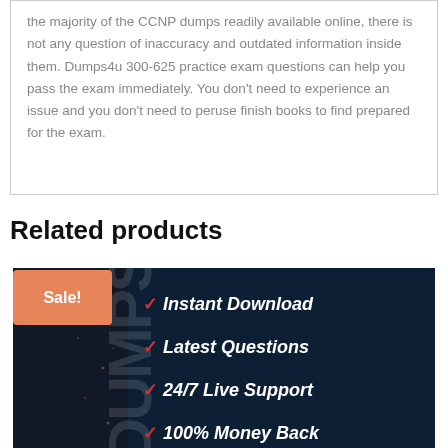the majority of the CCNP dumps readily available online, there is not any question of inaccuracy and outdated information inside them. Dumps4u 300-625 practice exam questions can help you pass the exam immediately. You don't need to experience an issue and you don't need to peruse finish books to find prepared for the exam.
Related products
[Figure (infographic): Product promotional banner with dark navy background. Left side shows partial 'DUMPS' text vertically. Right side lists features with check marks: Instant Download, Latest Questions, 24/7 Live Support, 100% Money Back. An orange 'Sale!' badge overlays the top-left corner.]